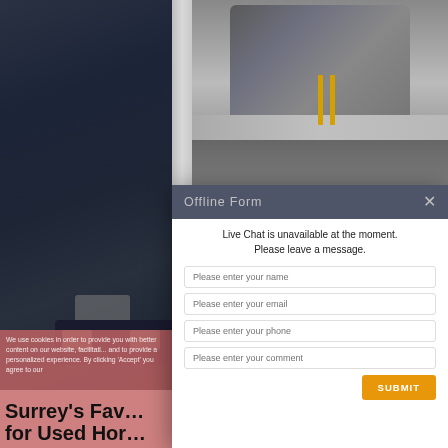[Figure (photo): Website screenshot showing Honda car dealership page with two Honda cars visible (aerial/top-down view of dark blue Honda on left, Honda driving on road top-right, another car in garage bottom-right), a red 'Text Us' button, and an 'Offline Form' modal dialog overlay.]
Offline Form
Live Chat is unavailable at the moment. Please leave a message.
Please enter your name
Please enter your email
Please enter your phone
Please enter your comment
SUBMIT
Text Us
We use cookies in order to provide you with better content on our website, facilitate navigation, and to provide a personalized experience. By clicking 'Accept' you agree to our use of cookies as detailed in our privacy policy. If you are not comfortable with is using this information, please
Surrey's Favorite for Used Hor